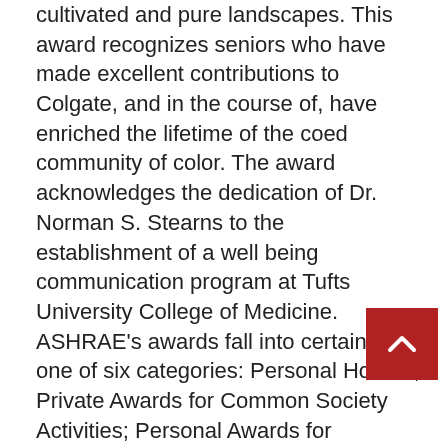cultivated and pure landscapes. This award recognizes seniors who have made excellent contributions to Colgate, and in the course of, have enriched the lifetime of the coed community of color. The award acknowledges the dedication of Dr. Norman S. Stearns to the establishment of a well being communication program at Tufts University College of Medicine.
ASHRAE's awards fall into certainly one of six categories: Personal Honors; Private Awards for Common Society Activities; Personal Awards for Particular Society Actions; Paper Awards; Society Awards to Teams or Chapters; Chapter and Regional Awards. Now of their third 12 months, the Northern Marketing Awards celebrates the excellence, creativity and achievements of the marketing trade within the North.
We recognize outstanding achievements by our members through an annual honors and awards